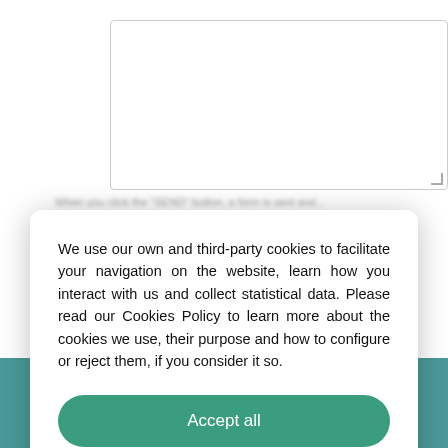[Figure (screenshot): Textarea input field shown at the top of the page, partially visible behind the cookie consent overlay]
We use our own and third-party cookies to facilitate your navigation on the website, learn how you interact with us and collect statistical data. Please read our Cookies Policy to learn more about the cookies we use, their purpose and how to configure or reject them, if you consider it so.
Accept all
Manage Cookies
Reject